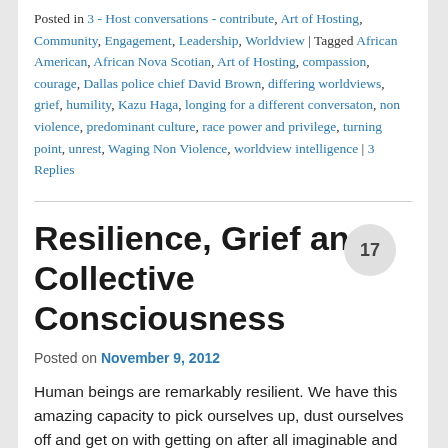Posted in 3 - Host conversations - contribute, Art of Hosting, Community, Engagement, Leadership, Worldview | Tagged African American, African Nova Scotian, Art of Hosting, compassion, courage, Dallas police chief David Brown, differing worldviews, grief, humility, Kazu Haga, longing for a different conversaton, non violence, predominant culture, race power and privilege, turning point, unrest, Waging Non Violence, worldview intelligence | 3 Replies
Resilience, Grief and Collective Consciousness
Posted on November 9, 2012
Human beings are remarkably resilient.  We have this amazing capacity to pick ourselves up, dust ourselves off and get on with getting on after all imaginable and unimaginable nature of horrors, calamities, catastrophes, of countless types…